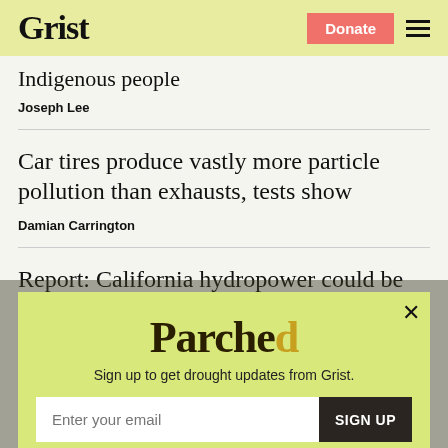Grist | Donate | Menu
Indigenous people
Joseph Lee
Car tires produce vastly more particle pollution than exhausts, tests show
Damian Carrington
Report: California hydropower could be cut
[Figure (screenshot): Parchea newsletter signup modal popup with yellow-green background. Contains the text 'Parchea', 'Sign up to get drought updates from Grist.', an email input field with placeholder 'Enter your email', a 'SIGN UP' button, an X close button, and a 'No thanks' link.]